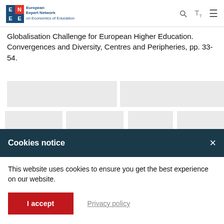European Expert Network on Economics of Education
Globalisation Challenge for European Higher Education. Convergences and Diversity, Centres and Peripheries, pp. 33-54.
[Figure (logo): Erasmus+ and PPMI logos]
Cookies notice
This website uses cookies to ensure you get the best experience on our website.
I accept
Privacy policy